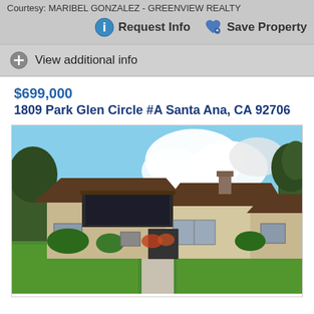Courtesy: MARIBEL GONZALEZ - GREENVIEW REALTY
Request Info | Save Property
View additional info
$699,000
1809 Park Glen Circle #A Santa Ana, CA 92706
[Figure (photo): Front exterior photo of a two-story residential property at 1809 Park Glen Circle #A Santa Ana, CA 92706. The home has a brown shingled roof, beige/tan stucco exterior, dark wood balcony, chimney, and a well-maintained green lawn with a concrete pathway leading to the front door.]